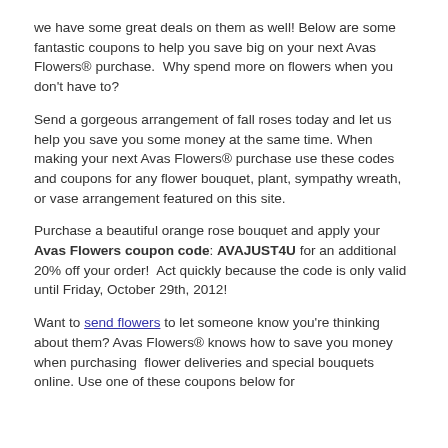we have some great deals on them as well! Below are some fantastic coupons to help you save big on your next Avas Flowers® purchase.  Why spend more on flowers when you don't have to?
Send a gorgeous arrangement of fall roses today and let us help you save you some money at the same time. When making your next Avas Flowers® purchase use these codes and coupons for any flower bouquet, plant, sympathy wreath, or vase arrangement featured on this site.
Purchase a beautiful orange rose bouquet and apply your Avas Flowers coupon code: AVAJUST4U for an additional 20% off your order!  Act quickly because the code is only valid until Friday, October 29th, 2012!
Want to send flowers to let someone know you're thinking about them? Avas Flowers® knows how to save you money when purchasing  flower deliveries and special bouquets online. Use one of these coupons below for